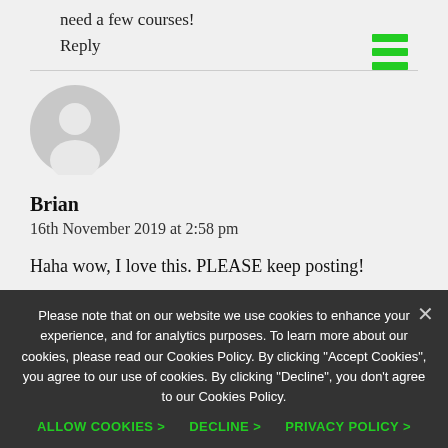need a few courses!
Reply
[Figure (infographic): Green hamburger menu icon (three horizontal green bars)]
Brian
16th November 2019 at 2:58 pm
Haha wow, I love this. PLEASE keep posting!
Please note that on our website we use cookies to enhance your experience, and for analytics purposes. To learn more about our cookies, please read our Cookies Policy. By clicking "Accept Cookies", you agree to our use of cookies. By clicking "Decline", you don't agree to our Cookies Policy.
ALLOW COOKIES >    DECLINE >    PRIVACY POLICY >